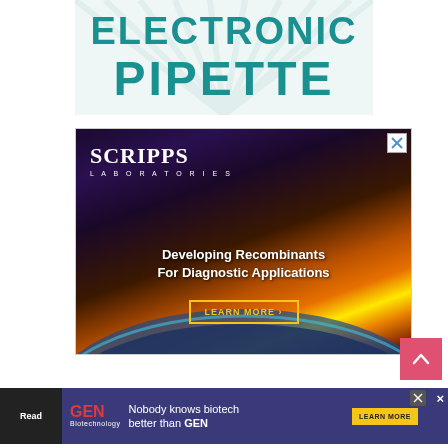ELECTRONIC PIPETTE
[Figure (illustration): Scripps Laboratories advertisement banner showing space/earth image with text 'Developing Recombinants For Diagnostic Applications' and 'LEARN MORE' button]
[Figure (illustration): GEN Biotechnology bottom banner advertisement: 'Nobody knows biotech better than GEN' with LEARN MORE button]